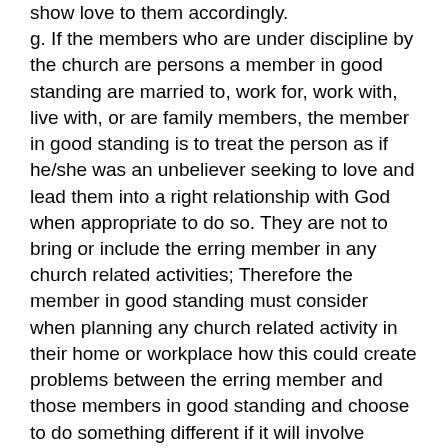show love to them accordingly.
g. If the members who are under discipline by the church are persons a member in good standing are married to, work for, work with, live with, or are family members, the member in good standing is to treat the person as if he/she was an unbeliever seeking to love and lead them into a right relationship with God when appropriate to do so. They are not to bring or include the erring member in any church related activities; Therefore the member in good standing must consider when planning any church related activity in their home or workplace how this could create problems between the erring member and those members in good standing and choose to do something different if it will involve having members in good standing fellowshipping with the erring member.
h. Separate and apart from the process of church discipline, but subject to the discretion and